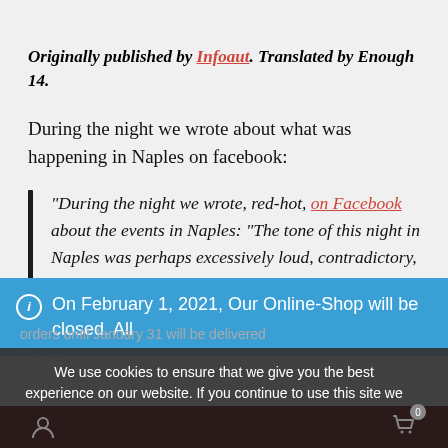Originally published by Infoaut. Translated by Enough 14.
During the night we wrote about what was happening in Naples on facebook:
“During the night we wrote, red-hot, on Facebook about the events in Naples: “The tone of this night in Naples was perhaps excessively loud, contradictory, ambiguous, stratified like the society we live in, like its opposite. But in Naples the hypocrisy behind which the inability of those
On February 1, 2021, Our Online-Shop will be closed. All
orders until January 31 will be delivered
Dismiss
We use cookies to ensure that we give you the best experience on our website. If you continue to use this site we will assume that you are happy with it.
Ok